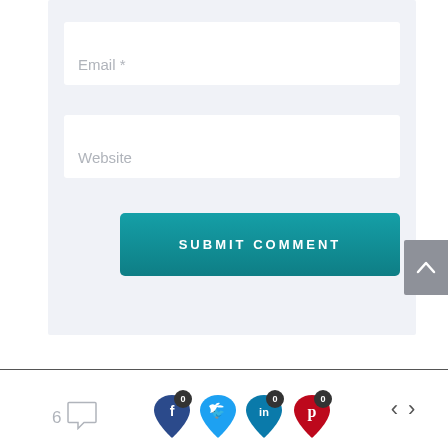Email *
Website
SUBMIT COMMENT
[Figure (screenshot): Web page comment form with Email and Website input fields and a teal Submit Comment button, plus a scroll-to-top button on the right]
6 comments | Facebook 0 | Twitter 0 | LinkedIn 0 | Pinterest 0 | prev | next